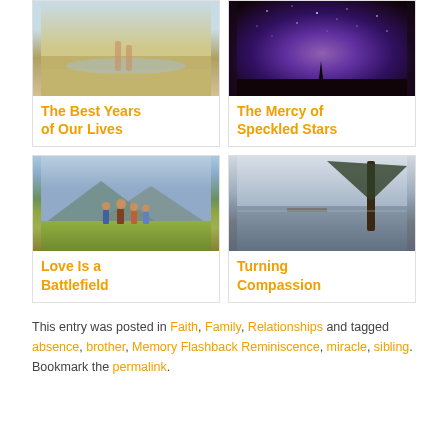[Figure (photo): Person walking along beach shoreline, feet visible, ocean waves]
The Best Years of Our Lives
[Figure (photo): Person silhouetted against a night sky with Milky Way galaxy stars]
The Mercy of Speckled Stars
[Figure (photo): Family group standing in a grassy meadow with mountains in background]
Love Is a Battlefield
[Figure (photo): Lake scene with tall pine trees in foreground and calm water reflecting sky]
Turning Compassion
This entry was posted in Faith, Family, Relationships and tagged absence, brother, Memory Flashback Reminiscence, miracle, sibling. Bookmark the permalink.